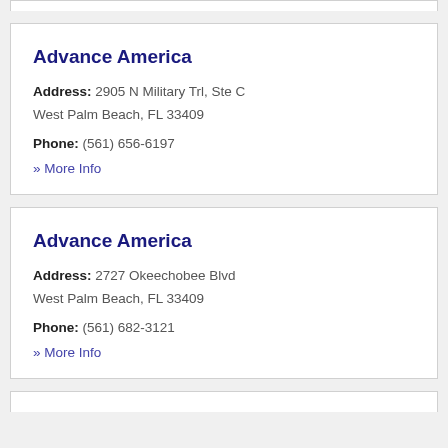Advance America
Address: 2905 N Military Trl, Ste C
West Palm Beach, FL 33409
Phone: (561) 656-6197
» More Info
Advance America
Address: 2727 Okeechobee Blvd
West Palm Beach, FL 33409
Phone: (561) 682-3121
» More Info